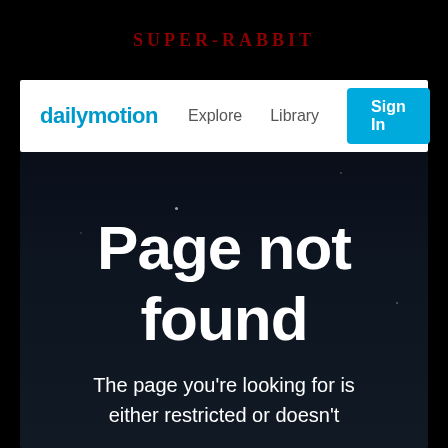SUPER-RABBIT
[Figure (screenshot): Dailymotion website navigation bar with logo, Explore, Library links and Sign In button]
Page not found
The page you're looking for is either restricted or doesn't